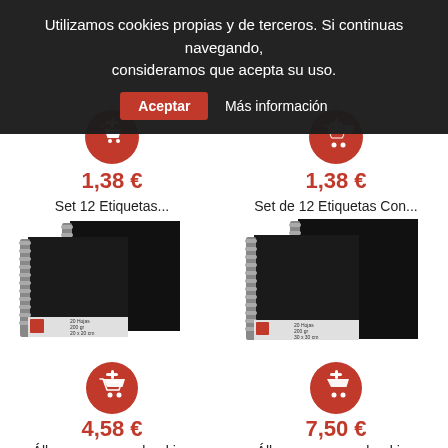Utilizamos cookies propias y de terceros. Si continuas navegando, consideramos que acepta su uso. Aceptar Más información
[Figure (screenshot): Two product thumbnails with red shopping cart add icons, price 1,38 € each. Left: Set 12 Etiquetas..., Right: Set de 12 Etiquetas Con...]
1,38 €
Set 12 Etiquetas...
1,38 €
Set de 12 Etiquetas Con...
[Figure (photo): Two black spiral-bound scrapbook albums. Left album: 20 Hojas, 200 gr, 20 x 20 cm. Right album: 20 Hojas, 200 gr, 30 x 30 cm.]
4,58 €
Álbum para scrapbooking
7,50 €
Álbum para scrapbooking